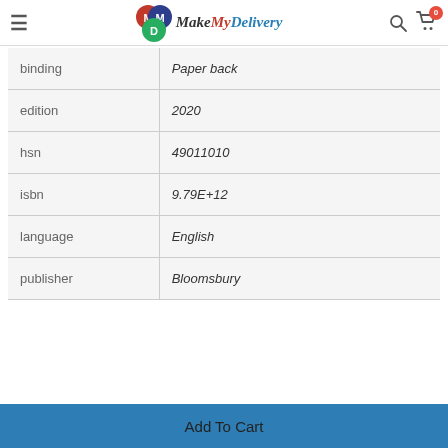MakeMyDelivery
|  |  |
| --- | --- |
| binding | Paper back |
| edition | 2020 |
| hsn | 49011010 |
| isbn | 9.79E+12 |
| language | English |
| publisher | Bloomsbury |
Add To Cart